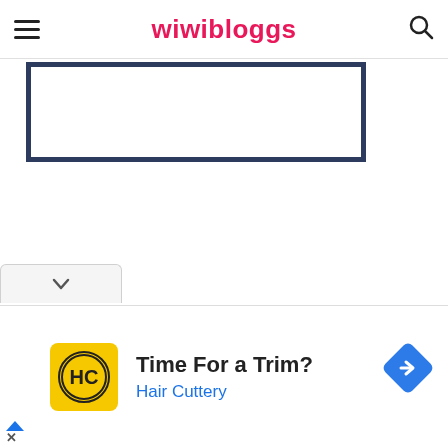wiwibloggs
[Figure (screenshot): Dark navy blue bordered rectangle content box, partially visible, likely containing an image or embedded video]
[Figure (screenshot): Collapsed panel tab with a downward chevron arrow]
[Figure (screenshot): Advertisement banner: Time For a Trim? Hair Cuttery with HC logo in yellow circle and blue diamond arrow icon]